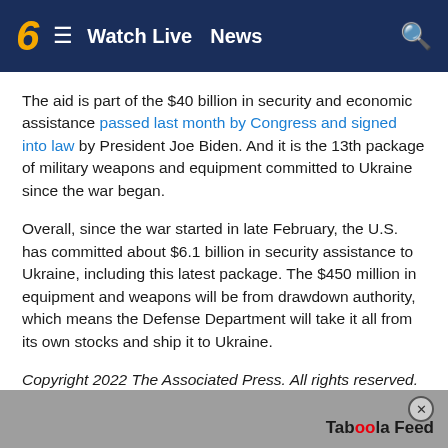6 ≡ Watch Live News 🔍
The aid is part of the $40 billion in security and economic assistance passed last month by Congress and signed into law by President Joe Biden. And it is the 13th package of military weapons and equipment committed to Ukraine since the war began.
Overall, since the war started in late February, the U.S. has committed about $6.1 billion in security assistance to Ukraine, including this latest package. The $450 million in equipment and weapons will be from drawdown authority, which means the Defense Department will take it all from its own stocks and ship it to Ukraine.
Copyright 2022 The Associated Press. All rights reserved.
Taboola Feed